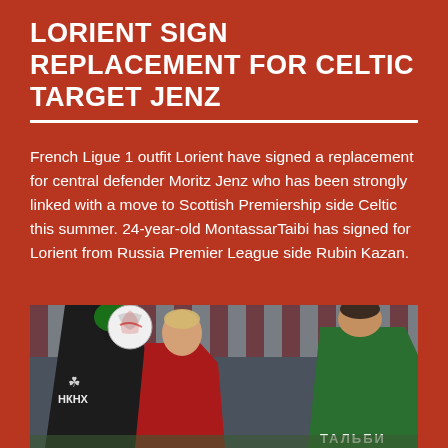LORIENT SIGN REPLACEMENT FOR CELTIC TARGET JENZ
French Ligue 1 outfit Lorient have signed a replacement for central defender Moritz Jenz who has been strongly linked with a move to Scottish Premiership side Celtic this summer. 24-year-old MontassarTaibi has signed for Lorient from Russia Premier League side Rubin Kazan.
[Figure (photo): Football match photo showing players competing for the ball. A goalkeeper in black (with НКНХ sponsor and Celtic-style trefoil logo) catches the ball, a player in red shirt jumps below, and a goalkeeper in green stands to the right. Stadium crowd visible in background.]